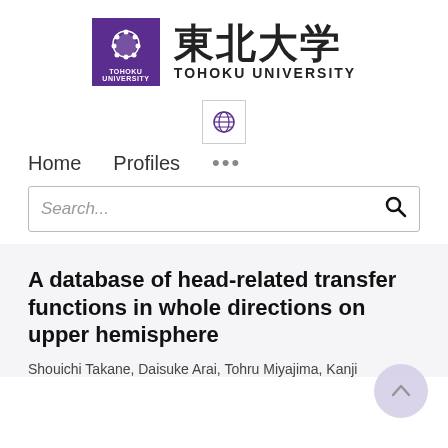[Figure (logo): Tohoku University logo: purple square with circular emblem and 'TOHOKU UNIVERSITY' text beside Japanese characters 東北大学]
[Figure (other): Small globe/language selector icon button]
Home   Profiles   ...
Search...
A database of head-related transfer functions in whole directions on upper hemisphere
Shouichi Takane, Daisuke Arai, Tohru Miyajima, Kanji